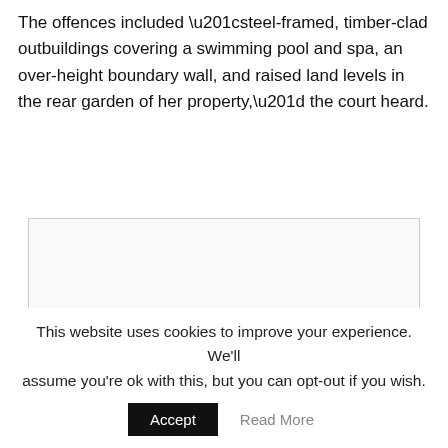The offences included “steel-framed, timber-clad outbuildings covering a swimming pool and spa, an over-height boundary wall, and raised land levels in the rear garden of her property,” the court heard.
[Figure (photo): A blank or partially loaded image placeholder with a light gray border]
This website uses cookies to improve your experience. We'll assume you're ok with this, but you can opt-out if you wish.